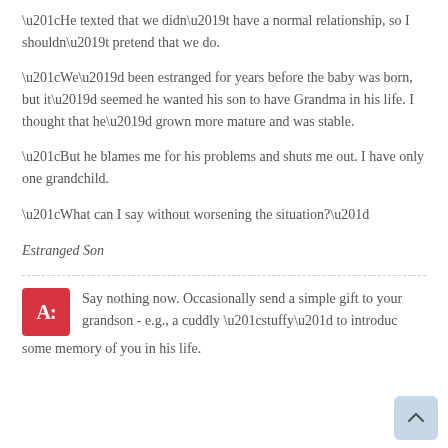“He texted that we didn’t have a normal relationship, so I shouldn’t pretend that we do.
“We’d been estranged for years before the baby was born, but it’d seemed he wanted his son to have Grandma in his life. I thought that he’d grown more mature and was stable.
“But he blames me for his problems and shuts me out. I have only one grandchild.
“What can I say without worsening the situation?”
Estranged Son
Say nothing now. Occasionally send a simple gift to your grandson - e.g., a cuddly “stuffy” to introduce some memory of you in his life.